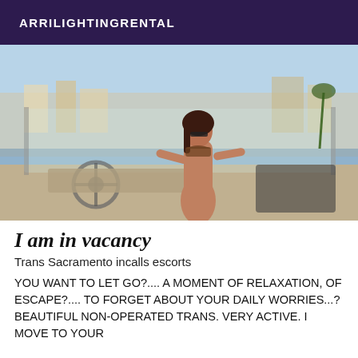ARRILIGHTINGRENTAL
[Figure (photo): Woman in bikini posing on a yacht/boat with a marina in the background]
I am in vacancy
Trans Sacramento incalls escorts
YOU WANT TO LET GO?.... A MOMENT OF RELAXATION, OF ESCAPE?.... TO FORGET ABOUT YOUR DAILY WORRIES...? BEAUTIFUL NON-OPERATED TRANS. VERY ACTIVE. I MOVE TO YOUR